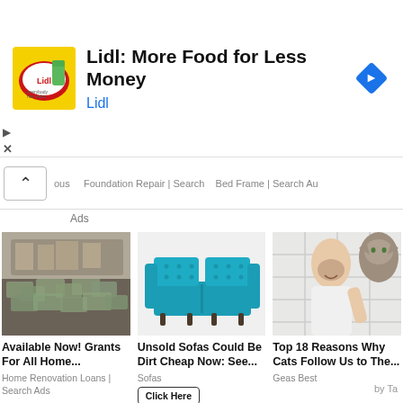[Figure (screenshot): Lidl advertisement banner with yellow/green logo, bold text 'Lidl: More Food for Less Money', blue 'Lidl' link text, and a blue navigation diamond icon on the right]
ous | Foundation Repair | Search | Bed Frame | Search Ads
Ads
[Figure (photo): Pile of bundled US dollar bills in a truck or vehicle]
Available Now! Grants For All Home...
Home Renovation Loans | Search Ads
[Figure (photo): Teal/turquoise tufted sofa on white background]
Unsold Sofas Could Be Dirt Cheap Now: See...
Sofas
[Figure (photo): Man smiling in bathroom holding a cat, white subway tile background]
Top 18 Reasons Why Cats Follow Us to The...
Geas Best
by Ta